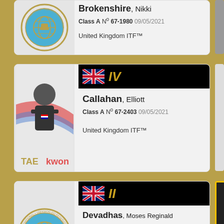Brokenshire, Nikki | Class A N° 67-1980 09/05/2021 | United Kingdom ITF™
IV | Callahan, Elliott | Class A N° 67-2403 09/05/2021 | United Kingdom ITF™
II | Devadhas, Moses Reginald | Class B N° 66-2265 06/12/2020 | United Kingdom ITF™
II (Belgium flag, partial card at bottom)